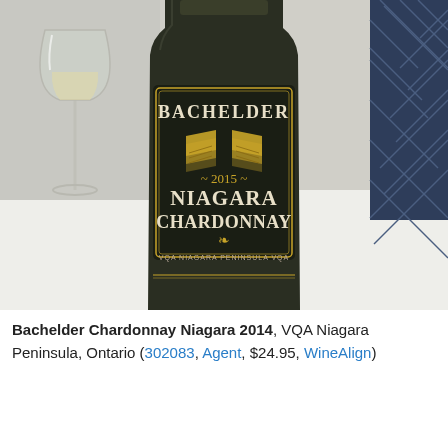[Figure (photo): A bottle of Bachelder 2015 Niagara Chardonnay wine with a dark label showing 'BACHELDER', a gold geometric logo, '2015', 'NIAGARA CHARDONNAY', and 'VQA NIAGARA PENINSULA VQA'. A wine glass is visible in the background left, and a patterned fabric/chair in the background right. The bottle sits on a white table surface.]
Bachelder Chardonnay Niagara 2014, VQA Niagara Peninsula, Ontario (302083, Agent, $24.95, WineAlign)